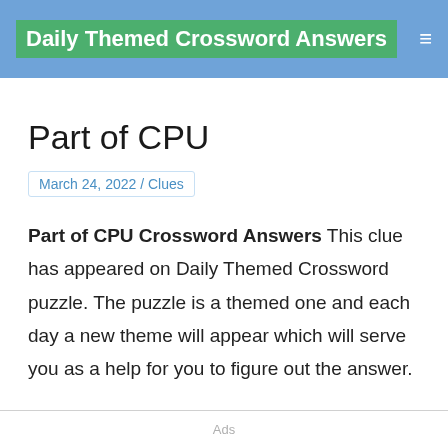Daily Themed Crossword Answers
Part of CPU
March 24, 2022 / Clues
Part of CPU Crossword Answers This clue has appeared on Daily Themed Crossword puzzle. The puzzle is a themed one and each day a new theme will appear which will serve you as a help for you to figure out the answer.
Ads